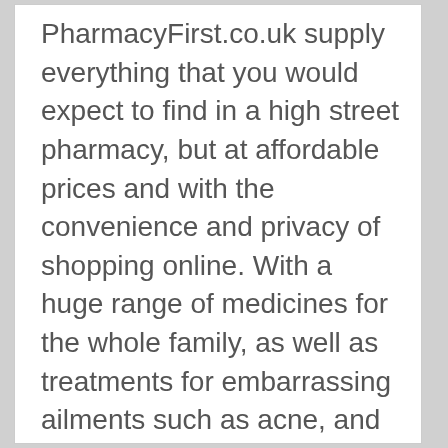PharmacyFirst.co.uk supply everything that you would expect to find in a high street pharmacy, but at affordable prices and with the convenience and privacy of shopping online. With a huge range of medicines for the whole family, as well as treatments for embarrassing ailments such as acne, and hairloss. There is also a range of men's toiletries, fragrances and more. With a lowest price promise, you can even get your NHS prescriptions conveniently from PharmacyFirst.co.uk. There is even a pharmacist that can answer all of